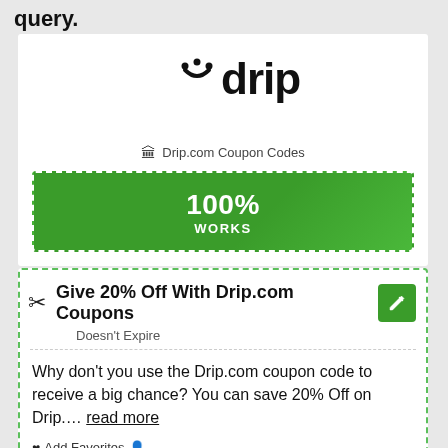query.
[Figure (logo): Drip logo - stylized drip icon with dots forming a smile above the word 'drip' in bold sans-serif]
Drip.com Coupon Codes
[Figure (infographic): Green banner with dashed white border showing '100% WORKS' in white bold text]
Give 20% Off With Drip.com Coupons
Doesn't Expire
Why don't you use the Drip.com coupon code to receive a big chance? You can save 20% Off on Drip.... read more
♥ Add Favorites  last used 03 months 20 days 13 hours 34 minutes ago